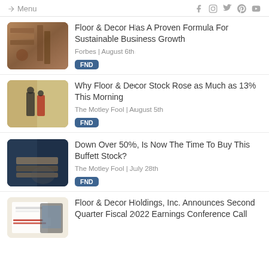Menu | Social icons: Facebook, Instagram, Twitter, Pinterest, YouTube
Floor & Decor Has A Proven Formula For Sustainable Business Growth
Forbes | August 6th
FND
Why Floor & Decor Stock Rose as Much as 13% This Morning
The Motley Fool | August 5th
FND
Down Over 50%, Is Now The Time To Buy This Buffett Stock?
The Motley Fool | July 28th
FND
Floor & Decor Holdings, Inc. Announces Second Quarter Fiscal 2022 Earnings Conference Call